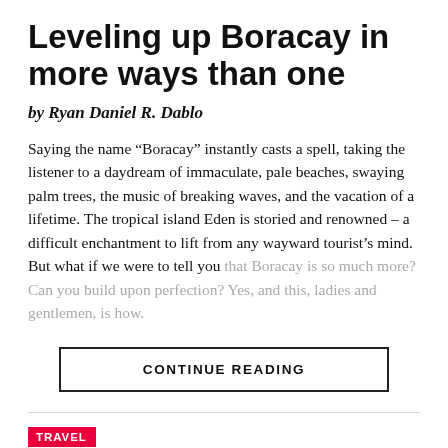Leveling up Boracay in more ways than one
by Ryan Daniel R. Dablo
Saying the name “Boracay” instantly casts a spell, taking the listener to a daydream of immaculate, pale beaches, swaying palm trees, the music of breaking waves, and the vacation of a lifetime. The tropical island Eden is storied and renowned – a difficult enchantment to lift from any wayward tourist’s mind. But what if we were to tell you that Boracay is so much more? Can you build upon perfection? Yes, and this, ladies and gentlemen, is how.
CONTINUE READING
TRAVEL